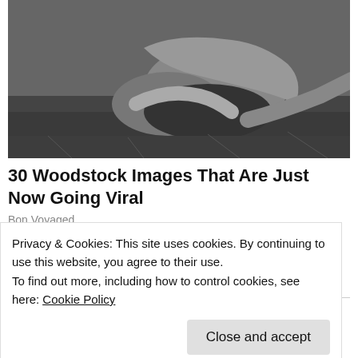[Figure (photo): Black and white photograph of people resting on grass at Woodstock festival]
30 Woodstock Images That Are Just Now Going Viral
Bon Voyaged
Park Place, Goshen, NY 10924, USA
Thank you for sharing this via one of these wonderful services:
Privacy & Cookies: This site uses cookies. By continuing to use this website, you agree to their use.
To find out more, including how to control cookies, see here: Cookie Policy
Close and accept
26 bloggers like this.